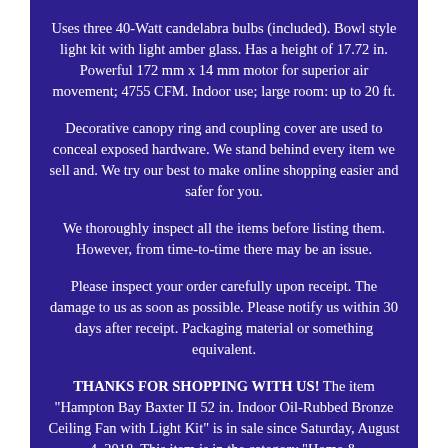Uses three 40-Watt candelabra bulbs (included). Bowl style light kit with light amber glass. Has a height of 17.72 in. Powerful 172 mm x 14 mm motor for superior air movement; 4755 CFM. Indoor use; large room: up to 20 ft.
Decorative canopy ring and coupling cover are used to conceal exposed hardware. We stand behind every item we sell and. We try our best to make online shopping easier and safer for you.
We thoroughly inspect all the items before listing them. However, from time-to-time there may be an issue.
Please inspect your order carefully upon receipt. The damage to us as soon as possible. Please notify us within 30 days after receipt. Packaging material or something equivalent.
THANKS FOR SHOPPING WITH US! The item "Hampton Bay Baxter II 52 in. Indoor Oil-Rubbed Bronze Ceiling Fan with Light Kit" is in sale since Saturday, August 4, 2018. This item is in the category "Home & Garden\Home Improvement\Plumbing & Fixtures\Faucets\Kitchen Faucets".